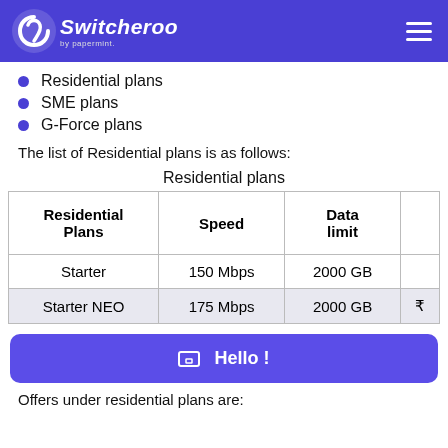Switcheroo by papermint
Residential plans
SME plans
G-Force plans
The list of Residential plans is as follows:
Residential plans
| Residential Plans | Speed | Data limit |
| --- | --- | --- |
| Starter | 150 Mbps | 2000 GB |
| Starter NEO | 175 Mbps | 2000 GB | ₹ |
Hello !
Offers under residential plans are: